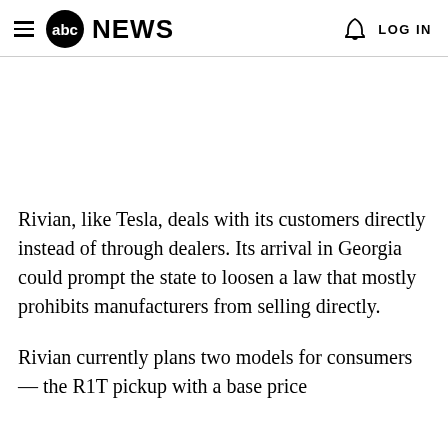abc NEWS  LOG IN
Rivian, like Tesla, deals with its customers directly instead of through dealers. Its arrival in Georgia could prompt the state to loosen a law that mostly prohibits manufacturers from selling directly.
Rivian currently plans two models for consumers — the R1T pickup with a base price